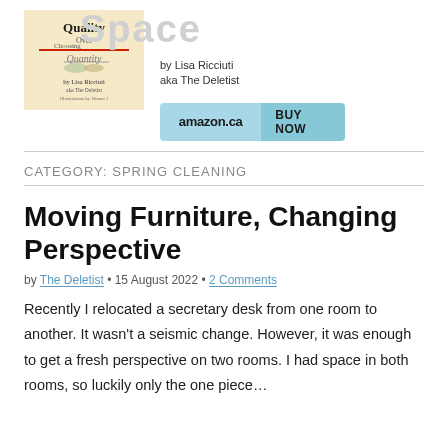[Figure (illustration): Watermark/logo text reading 'Space' in light gray]
by Lisa Ricciuti
aka The Deletist
[Figure (illustration): Book cover for 'Quality Over Quantity' by Lisa Ricciuti aka The Deletist, illustrations by Donna J, with a beige/cream background]
[Figure (other): Amazon.ca BUY NOW button in light blue]
CATEGORY: SPRING CLEANING
Moving Furniture, Changing Perspective
by The Deletist • 15 August 2022 • 2 Comments
Recently I relocated a secretary desk from one room to another. It wasn't a seismic change. However, it was enough to get a fresh perspective on two rooms. I had space in both rooms, so luckily only the one piece…